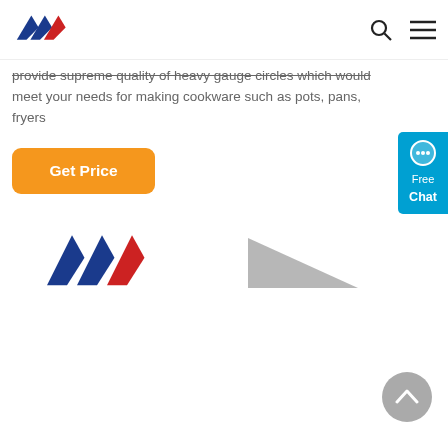AW logo, search icon, menu icon
provide supreme quality of heavy gauge circles which would meet your needs for making cookware such as pots, pans, fryers
[Figure (logo): Orange Get Price button]
[Figure (logo): Free Chat widget in blue]
[Figure (logo): AW logo large with blue and red chevrons]
[Figure (logo): Gray triangle/play button logo]
[Figure (other): Gray circular scroll-to-top button with upward chevron]